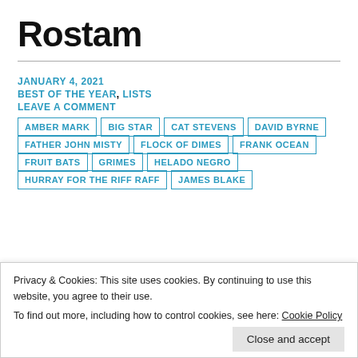Rostam
JANUARY 4, 2021
BEST OF THE YEAR, LISTS
LEAVE A COMMENT
AMBER MARK
BIG STAR
CAT STEVENS
DAVID BYRNE
FATHER JOHN MISTY
FLOCK OF DIMES
FRANK OCEAN
FRUIT BATS
GRIMES
HELADO NEGRO
HURRAY FOR THE RIFF RAFF
JAMES BLAKE
Privacy & Cookies: This site uses cookies. By continuing to use this website, you agree to their use.
To find out more, including how to control cookies, see here: Cookie Policy
Close and accept